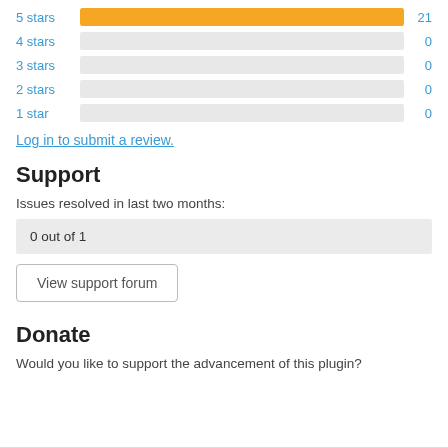[Figure (bar-chart): Star ratings]
Log in to submit a review.
Support
Issues resolved in last two months:
0 out of 1
View support forum
Donate
Would you like to support the advancement of this plugin?